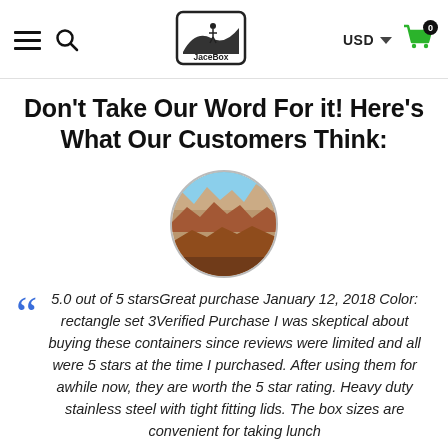JaceBox — USD — Cart (0)
Don't Take Our Word For it! Here's What Our Customers Think:
[Figure (photo): Circular profile photo of a person at a scenic canyon overlook, showing red rock formations and landscape below.]
5.0 out of 5 starsGreat purchase January 12, 2018 Color: rectangle set 3Verified Purchase I was skeptical about buying these containers since reviews were limited and all were 5 stars at the time I purchased. After using them for awhile now, they are worth the 5 star rating. Heavy duty stainless steel with tight fitting lids. The box sizes are convenient for taking lunch